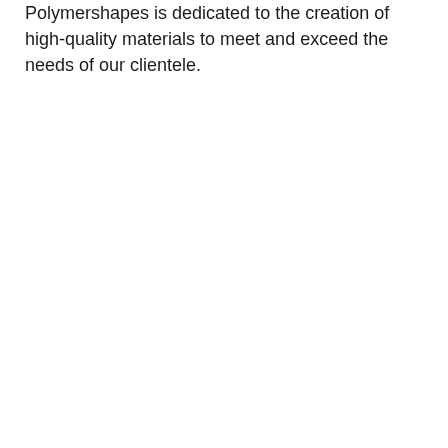Polymershapes is dedicated to the creation of high-quality materials to meet and exceed the needs of our clientele.